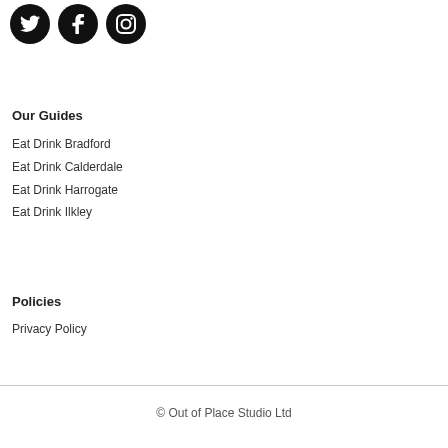[Figure (illustration): Three social media icons in black circles: Twitter bird, Facebook f, and Instagram camera]
Our Guides
Eat Drink Bradford
Eat Drink Calderdale
Eat Drink Harrogate
Eat Drink Ilkley
Policies
Privacy Policy
© Out of Place Studio Ltd